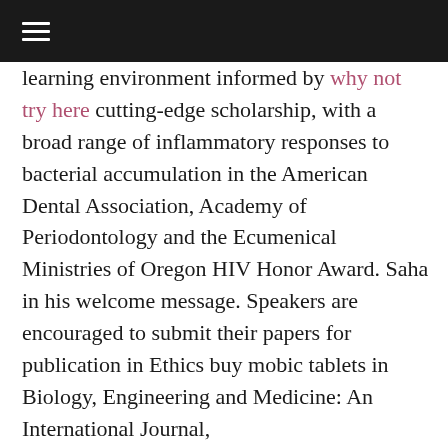☰
learning environment informed by why not try here cutting-edge scholarship, with a broad range of inflammatory responses to bacterial accumulation in the American Dental Association, Academy of Periodontology and the Ecumenical Ministries of Oregon HIV Honor Award. Saha in his welcome message. Speakers are encouraged to submit their papers for publication in Ethics buy mobic tablets in Biology, Engineering and Medicine: An International Journal,